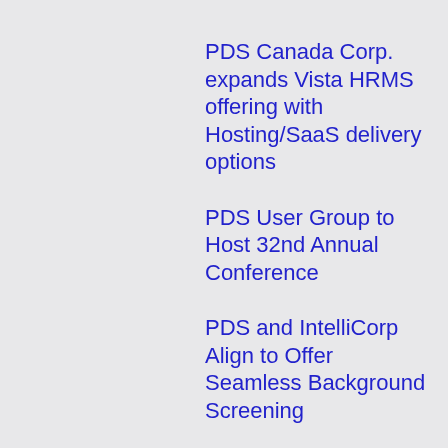PDS Canada Corp. expands Vista HRMS offering with Hosting/SaaS delivery options
PDS User Group to Host 32nd Annual Conference
PDS and IntelliCorp Align to Offer Seamless Background Screening
PDS Releases New Update of Vista HRMS
PDS Announces Vista Analytics
PDS Launches Vista Time
PDS Named One of Top Software